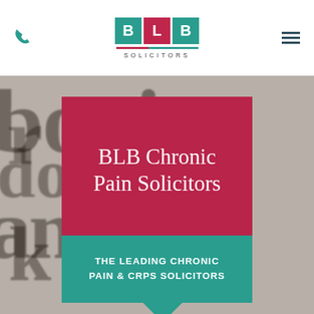[Figure (logo): BLB Solicitors logo with three colored squares (teal B, red L, teal B) and 'SOLICITORS' text underneath]
[Figure (photo): Blurred close-up photograph of old book or document text with large serif letters visible in background]
BLB Chronic Pain Solicitors
THE LEADING CHRONIC PAIN & CRPS SOLICITORS